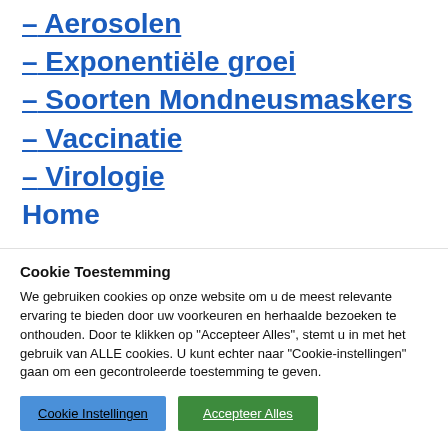– Aerosolen
– Exponentiële groei
– Soorten Mondneusmaskers
– Vaccinatie
– Virologie
Home
Cookie Toestemming
We gebruiken cookies op onze website om u de meest relevante ervaring te bieden door uw voorkeuren en herhaalde bezoeken te onthouden. Door te klikken op "Accepteer Alles", stemt u in met het gebruik van ALLE cookies. U kunt echter naar "Cookie-instellingen" gaan om een gecontroleerde toestemming te geven.
Cookie Instellingen | Accepteer Alles